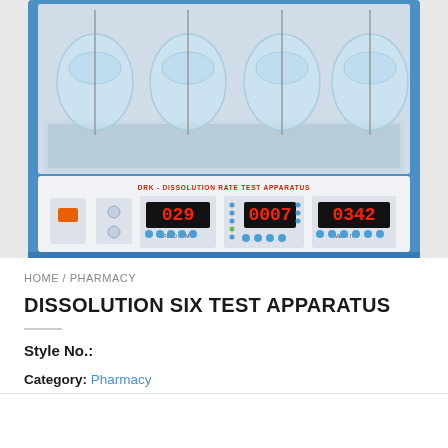[Figure (photo): Dissolution Rate Test Apparatus (DRK) showing a blue and white laboratory instrument with glass flasks/beakers on top mounted in a water bath, and a white control panel with digital displays showing '029' and '0342', red LED readouts, blue control buttons, and an orange power switch. The panel is labeled 'DRK - DISSOLUTION RATE TEST APPARATUS'.]
HOME / PHARMACY
DISSOLUTION SIX TEST APPARATUS
Style No.:
Category: Pharmacy